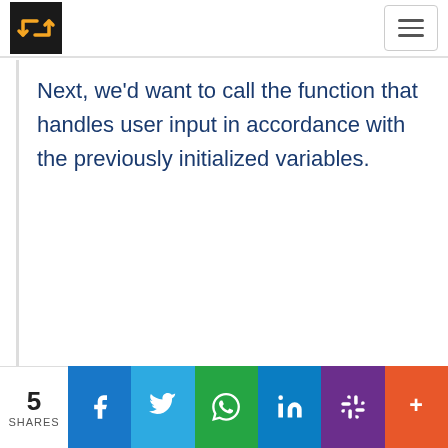Next, we'd want to call the function that handles user input in accordance with the previously initialized variables.
5 SHARES